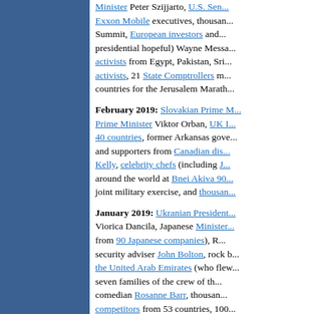Minister Peter Szijjarto, U.S. Sen... Exxon Mobile executives, thousan... Summit, European investors and... presidential hopeful) Wayne Messa... activists from Egypt, Pakistan, Sri... activists, 21 State Comptrollers m... countries for the Jerusalem Marath...
February 2019: Slovakian Prime M... Prime Minister Viktor Orban, UK I... 40 countries, former Arkansas gove... and supporters from Canadian dis... Kelly, celebrity chefs (including J... around the world at Bnei Akiva 90... joint military exercise, and thousan...
January 2019: Ukranian President... Viorica Dancila, Japanese Minister... from 90 Japanese companies), R... security adviser John Bolton, rock b... the United Arab Emirates (who flew... seven families of the crew of th... comedian Rosanne Barr, thousan... competitors from 53 countries, 100... 2018, about 30,000 "medical tourist...
December 2018: Greek Prime Min... prime minister Matteo Salvini; the... bipartisan group of incoming memb... Airlines CEO Thanh Tri Duong, Air...